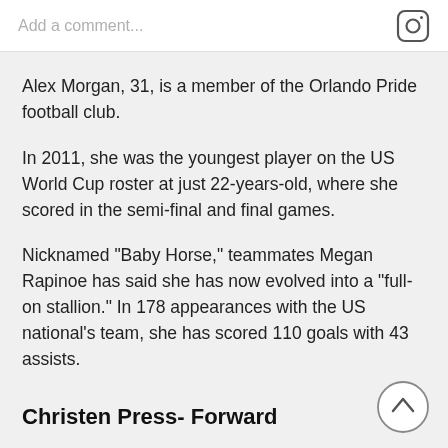Add a comment...
Alex Morgan, 31, is a member of the Orlando Pride football club.
In 2011, she was the youngest player on the US World Cup roster at just 22-years-old, where she scored in the semi-final and final games.
Nicknamed "Baby Horse," teammates Megan Rapinoe has said she has now evolved into a "full-on stallion." In 178 appearances with the US national's team, she has scored 110 goals with 43 assists.
Christen Press- Forward